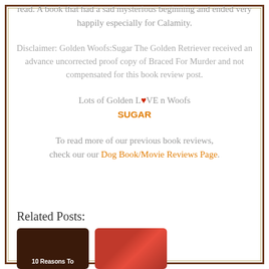read. A book that had a sad mysterious beginning and ended very happily especially for Calamity.
Disclaimer: Golden Woofs:Sugar The Golden Retriever received an advance uncorrected proof copy of Braced For Murder and not compensated for this book review post.
Lots of Golden L♥VE n Woofs
SUGAR
To read more of our previous book reviews, check our our Dog Book/Movie Reviews Page.
Related Posts:
[Figure (photo): Thumbnail image for a related post titled '10 Reasons To']
[Figure (photo): Thumbnail image for a related post showing a dog]